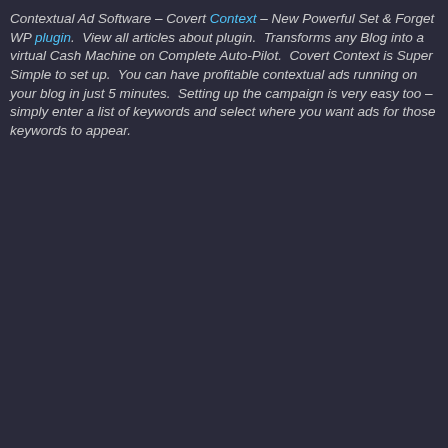Contextual Ad Software – Covert Context – New Powerful Set & Forget WP plugin.  View all articles about plugin.  Transforms any Blog into a virtual Cash Machine on Complete Auto-Pilot.  Covert Context is Super Simple to set up.  You can have profitable contextual ads running on your blog in just 5 minutes.  Setting up the campaign is very easy too – simply enter a list of keywords and select where you want ads for those keywords to appear.
[Figure (screenshot): Facebook Like button (0 likes), social share buttons with counts (2, 0, 0), and a total Shares count of 2]
created a campaign it will generate contextual ads on your blog forever, without you ever needing to touch it again! The World's first Intelligent – Self-Optimizing Ad Software
There are 3 keys to effectively monetizing any blog:
[Figure (photo): Covert Context product box image showing golden text 'COVERT Context' on dark background with flames, Amazon Commissions on Auto-Pilot badge, and WordPress branding]